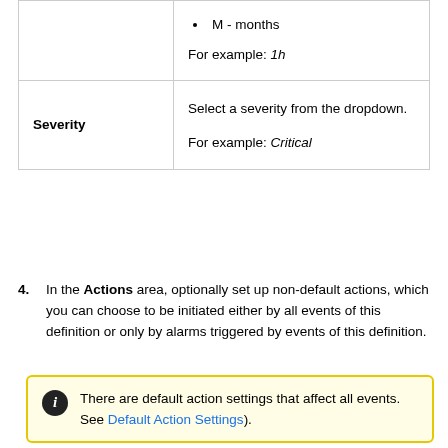| Field | Description |
| --- | --- |
| M - months | For example: 1h |
| Severity | Select a severity from the dropdown.

For example: Critical |
In the Actions area, optionally set up non-default actions, which you can choose to be initiated either by all events of this definition or only by alarms triggered by events of this definition.
There are default action settings that affect all events. See Default Action Settings).